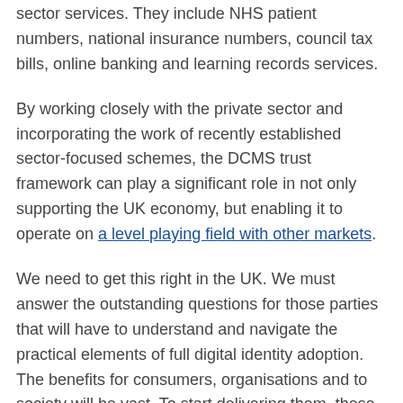sector services. They include NHS patient numbers, national insurance numbers, council tax bills, online banking and learning records services.
By working closely with the private sector and incorporating the work of recently established sector-focused schemes, the DCMS trust framework can play a significant role in not only supporting the UK economy, but enabling it to operate on a level playing field with other markets.
We need to get this right in the UK. We must answer the outstanding questions for those parties that will have to understand and navigate the practical elements of full digital identity adoption. The benefits for consumers, organisations and to society will be vast. To start delivering them, these organisations need to get on board now.
Nick Mothershaw is chief identity strategist at the Open